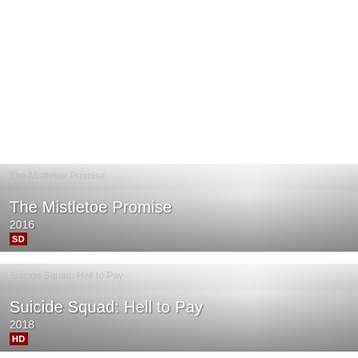[Figure (screenshot): Movie card for 'The Mistletoe Promise', 2016, SD quality badge, gray gradient background]
[Figure (screenshot): Movie card for 'Suicide Squad: Hell to Pay', 2018, HD quality badge, gray gradient background]